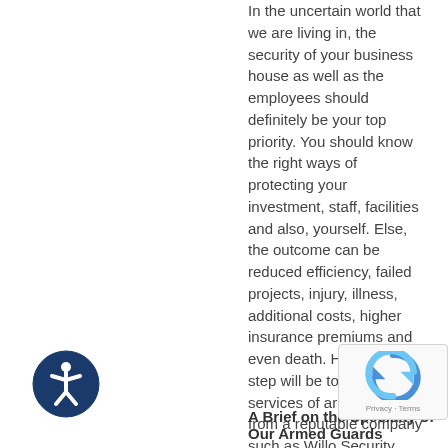In the uncertain world that we are living in, the security of your business house as well as the employees should definitely be your top priority. You should know the right ways of protecting your investment, staff, facilities and also, yourself. Else, the outcome can be reduced efficiency, failed projects, injury, illness, additional costs, higher insurance premiums and even death. Here, the best step will be to hire the services of armed guards from a reputable company such as Willo Security. The very presence of these guards will heighten the self-confidence of any person who inhabits the area. Undoubtedly, people will feel more protected and at ease knowing that the guards are present. Our guards are licensed and trained, and will offer you with the best protection possible. People residing in and around Akron, Canton, Cincinnati, Cleveland, Columbus and Ohio can make th of our security services.
A Brief on the Specialty of Our Armed Guards